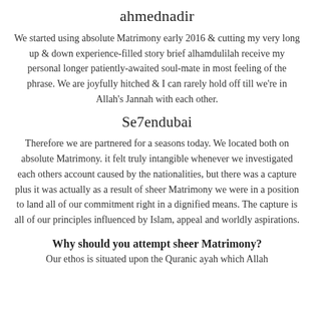ahmednadir
We started using absolute Matrimony early 2016 & cutting my very long up & down experience-filled story brief alhamdulilah receive my personal longer patiently-awaited soul-mate in most feeling of the phrase. We are joyfully hitched & I can rarely hold off till we're in Allah's Jannah with each other.
Se7endubai
Therefore we are partnered for a seasons today. We located both on absolute Matrimony. it felt truly intangible whenever we investigated each others account caused by the nationalities, but there was a capture plus it was actually as a result of sheer Matrimony we were in a position to land all of our commitment right in a dignified means. The capture is all of our principles influenced by Islam, appeal and worldly aspirations.
Why should you attempt sheer Matrimony?
Our ethos is situated upon the Quranic ayah which Allah